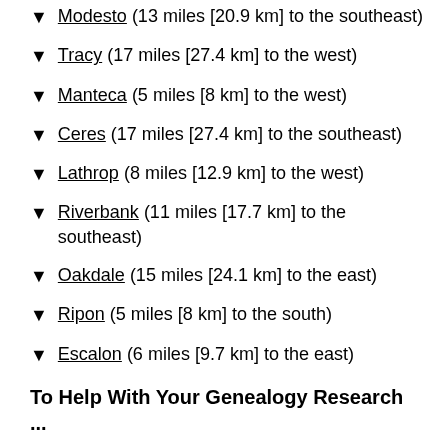▼ Modesto (13 miles [20.9 km] to the southeast)
▼ Tracy (17 miles [27.4 km] to the west)
▼ Manteca (5 miles [8 km] to the west)
▼ Ceres (17 miles [27.4 km] to the southeast)
▼ Lathrop (8 miles [12.9 km] to the west)
▼ Riverbank (11 miles [17.7 km] to the southeast)
▼ Oakdale (15 miles [24.1 km] to the east)
▼ Ripon (5 miles [8 km] to the south)
▼ Escalon (6 miles [9.7 km] to the east)
To Help With Your Genealogy Research ...